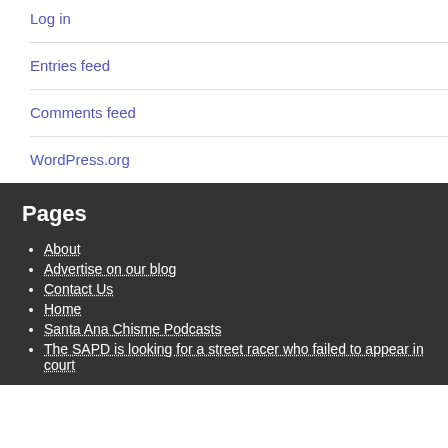Log in
Entries feed
Comments feed
WordPress.org
Pages
About
Advertise on our blog
Contact Us
Home
Santa Ana Chisme Podcasts
The SAPD is looking for a street racer who failed to appear in court